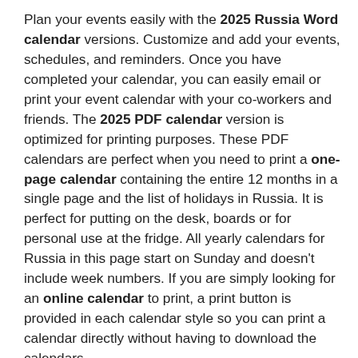Plan your events easily with the 2025 Russia Word calendar versions. Customize and add your events, schedules, and reminders. Once you have completed your calendar, you can easily email or print your event calendar with your co-workers and friends. The 2025 PDF calendar version is optimized for printing purposes. These PDF calendars are perfect when you need to print a one-page calendar containing the entire 12 months in a single page and the list of holidays in Russia. It is perfect for putting on the desk, boards or for personal use at the fridge. All yearly calendars for Russia in this page start on Sunday and doesn't include week numbers. If you are simply looking for an online calendar to print, a print button is provided in each calendar style so you can print a calendar directly without having to download the calendars.